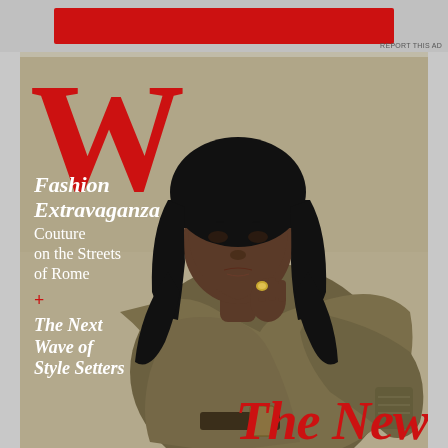[Figure (other): Red advertisement banner at top of page]
REPORT THIS AD
[Figure (photo): W Magazine cover featuring a Black female model with a black bob haircut wearing an olive/khaki draped blouse with belt, posing with hand near chin against a taupe background. Large red W logo in top left corner. Cover lines include 'Fashion Extravaganza Couture on the Streets of Rome', 'The Next Wave of Style Setters', and 'The New' in large red italic text at bottom right.]